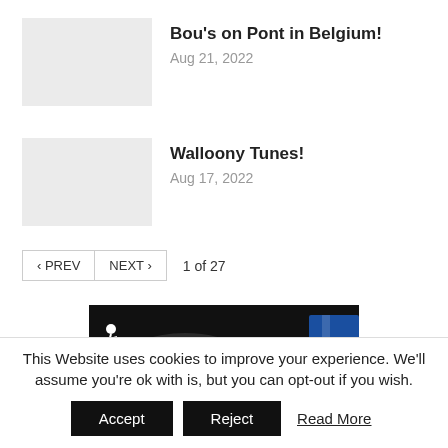[Figure (photo): Thumbnail placeholder image (light grey rectangle) for article 'Bou's on Pont in Belgium!']
Bou's on Pont in Belgium!
Aug 21, 2022
[Figure (photo): Thumbnail placeholder image (light grey rectangle) for article 'Walloony Tunes!']
Walloony Tunes!
Aug 17, 2022
‹ PREV   NEXT ›   1 of 27
[Figure (logo): MBR logo on dark background with motocross rider silhouette and blue/red clothing visible on the right side]
This Website uses cookies to improve your experience. We'll assume you're ok with is, but you can opt-out if you wish.
Accept   Reject   Read More